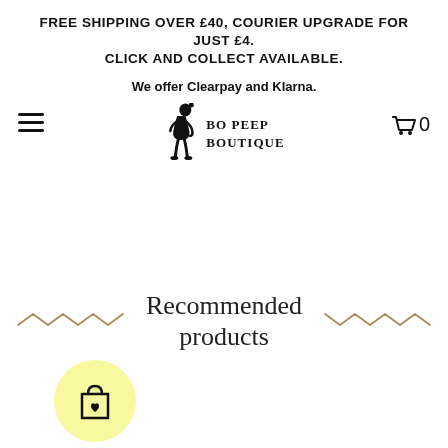FREE SHIPPING OVER £40, COURIER UPGRADE FOR JUST £4. CLICK AND COLLECT AVAILABLE.
We offer Clearpay and Klarna.
[Figure (logo): Bo Peep Boutique logo with silhouette of a girl figure and text 'Bo Peep Boutique' in serif font]
Recommended products
[Figure (illustration): Yellow circular button with a shopping bag icon containing a heart]